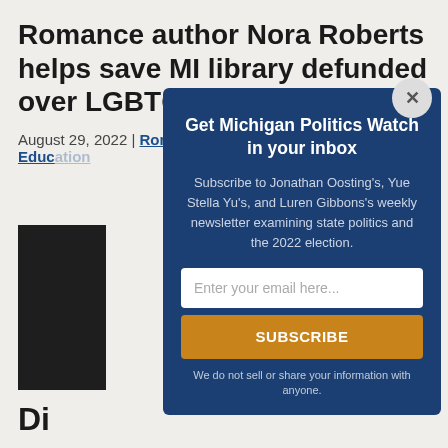Romance author Nora Roberts helps save MI library defunded over LGBTQ books
August 29, 2022 | Ron French in Talent & Education
[Figure (photo): Partially visible photo behind modal overlay]
Di
[Figure (screenshot): Email subscription modal overlay with dark blue background. Title: Get Michigan Politics Watch in your inbox. Subtitle: Subscribe to Jonathan Oosting's, Yue Stella Yu's, and Luren Gibbons's weekly newsletter examining state politics and the 2022 election. Email input field. Subscribe button in gold/amber. Footer: We do not sell or share your information with anyone.]